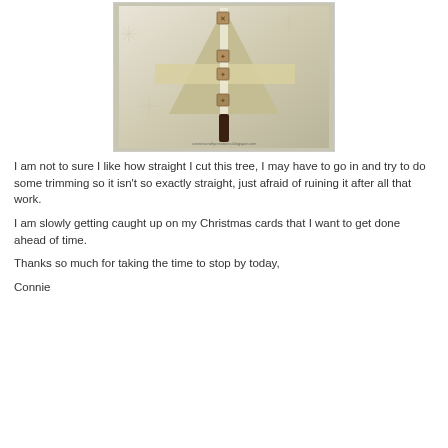[Figure (photo): A handmade Christmas card featuring a cream and gold tree shape with a horizontal band, ribbon, decorative squares, and a dark trunk on a snowflake-embossed background. Watermark reads conniescraftycreations.blogspot.com]
I am not to sure I like how straight I cut this tree, I may have to go in and try to do some trimming so it isn't so exactly straight, just afraid of ruining it after all that work.
I am slowly getting caught up on my Christmas cards that I want to get done ahead of time.
Thanks so much for taking the time to stop by today,
Connie